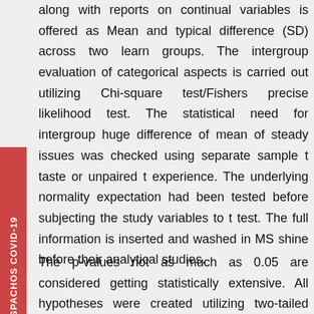along with reports on continual variables is offered as Mean and typical difference (SD) across two learn groups. The intergroup evaluation of categorical aspects is carried out utilizing Chi-square test/Fishers precise likelihood test. The statistical need for intergroup huge difference of mean of steady issues was checked using separate sample t taste or unpaired t experience. The underlying normality expectation had been tested before subjecting the study variables to t test. The full information is inserted and washed in MS shine before their analytical studies.
The p-values not as much as 0.05 are considered getting statistically extensive. All hypotheses were created utilizing two-tailed choices against each